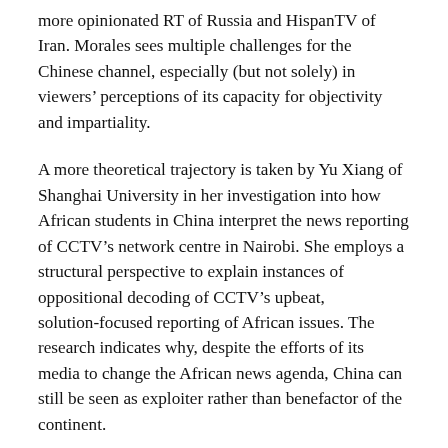more opinionated RT of Russia and HispanTV of Iran. Morales sees multiple challenges for the Chinese channel, especially (but not solely) in viewers' perceptions of its capacity for objectivity and impartiality.
A more theoretical trajectory is taken by Yu Xiang of Shanghai University in her investigation into how African students in China interpret the news reporting of CCTV's network centre in Nairobi. She employs a structural perspective to explain instances of oppositional decoding of CCTV's upbeat, solution-focused reporting of African issues. The research indicates why, despite the efforts of its media to change the African news agenda, China can still be seen as exploiter rather than benefactor of the continent.
A related conundrum, seen from a different angle and a